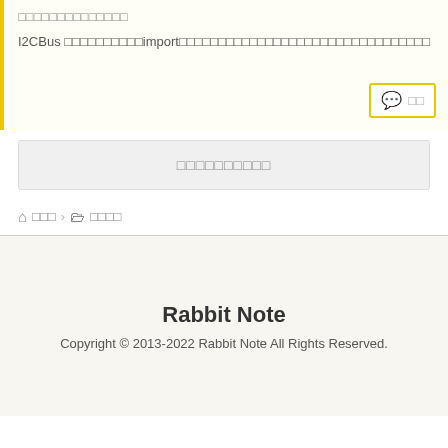□□□□□□□□□□□□□□
I2CBus □□□□□□□□□□import□□□□□□□□□□□□□□□□□□□□□□□□□□□□□□□□
□□□□□□□□□□ (comment box with count)
□□□□□□□□□□ (load more button)
🏠 □□□ > □ □□□□
Rabbit Note
Copyright © 2013-2022 Rabbit Note All Rights Reserved.